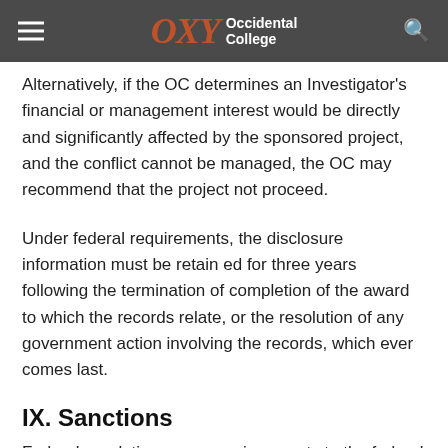OXY Occidental College
Alternatively, if the OC determines an Investigator's financial or management interest would be directly and significantly affected by the sponsored project, and the conflict cannot be managed, the OC may recommend that the project not proceed.
Under federal requirements, the disclosure information must be retain ed for three years following the termination of completion of the award to which the records relate, or the resolution of any government action involving the records, which ever comes last.
IX. Sanctions
Federal regulations may require reports to the federal sponsor of any violations of the policy. Sponsors may